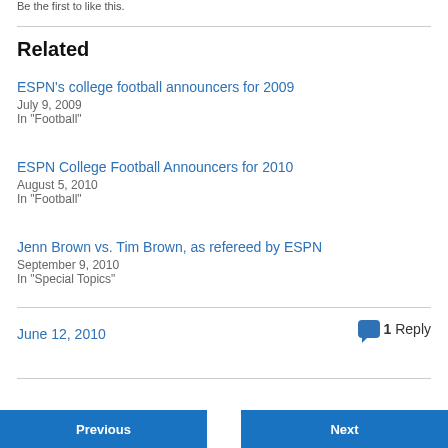Be the first to like this.
Related
ESPN's college football announcers for 2009
July 9, 2009
In "Football"
ESPN College Football Announcers for 2010
August 5, 2010
In "Football"
Jenn Brown vs. Tim Brown, as refereed by ESPN
September 9, 2010
In "Special Topics"
June 12, 2010
1 Reply
Previous
Next